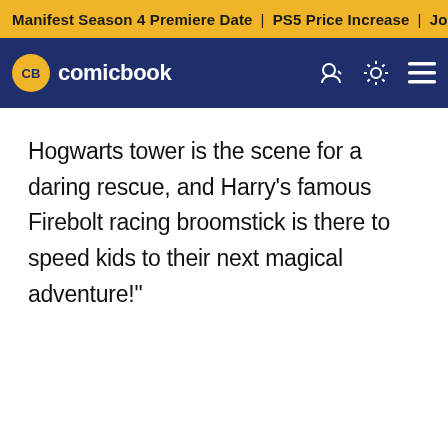Manifest Season 4 Premiere Date | PS5 Price Increase | Jon M
CB comicbook
Hogwarts tower is the scene for a daring rescue, and Harry's famous Firebolt racing broomstick is there to speed kids to their next magical adventure!"